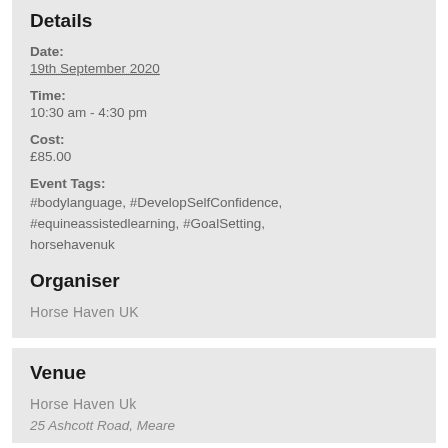Details
Date:
19th September 2020
Time:
10:30 am - 4:30 pm
Cost:
£85.00
Event Tags:
#bodylanguage, #DevelopSelfConfidence, #equineassistedlearning, #GoalSetting, horsehavenuk
Organiser
Horse Haven UK
Venue
Horse Haven Uk
25 Ashcott Road, Meare